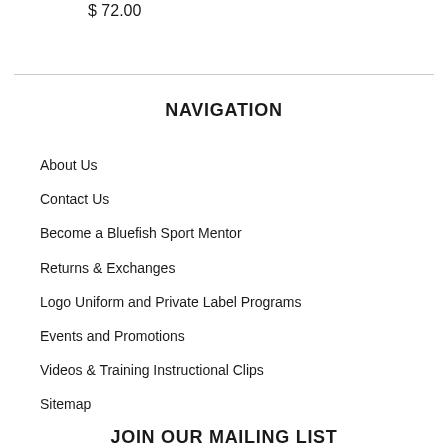$ 72.00
NAVIGATION
About Us
Contact Us
Become a Bluefish Sport Mentor
Returns & Exchanges
Logo Uniform and Private Label Programs
Events and Promotions
Videos & Training Instructional Clips
Sitemap
JOIN OUR MAILING LIST